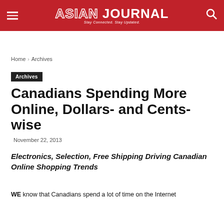ASIAN JOURNAL — Stay Connected. Stay Updated.
Home › Archives
Archives
Canadians Spending More Online, Dollars- and Cents-wise
November 22, 2013
Electronics, Selection, Free Shipping Driving Canadian Online Shopping Trends
WE know that Canadians spend a lot of time on the Internet